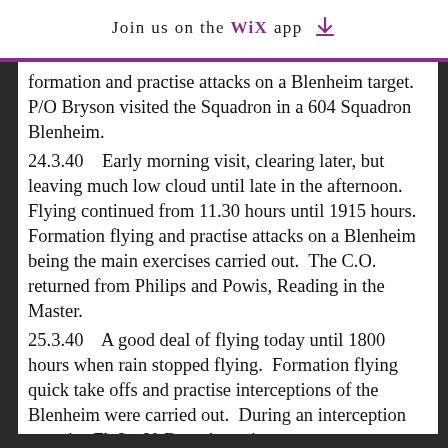Join us on the WiX app
formation and practise attacks on a Blenheim target.  P/O Bryson visited the Squadron in a 604 Squadron Blenheim.
24.3.40    Early morning visit, clearing later, but leaving much low cloud until late in the afternoon.  Flying continued from 11.30 hours until 1915 hours. Formation flying and practise attacks on a Blenheim being the main exercises carried out.  The C.O. returned from Philips and Powis, Reading in the Master.
25.3.40    A good deal of flying today until 1800 hours when rain stopped flying.  Formation flying quick take offs and practise interceptions of the Blenheim were carried out.  During an interception exercise Flt.Lt. V. Byrne's engine was ob... be pouring out